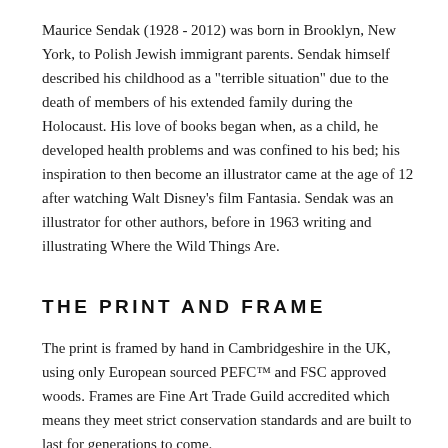Maurice Sendak (1928 - 2012) was born in Brooklyn, New York, to Polish Jewish immigrant parents. Sendak himself described his childhood as a "terrible situation" due to the death of members of his extended family during the Holocaust. His love of books began when, as a child, he developed health problems and was confined to his bed; his inspiration to then become an illustrator came at the age of 12 after watching Walt Disney's film Fantasia. Sendak was an illustrator for other authors, before in 1963 writing and illustrating Where the Wild Things Are.
THE PRINT AND FRAME
The print is framed by hand in Cambridgeshire in the UK, using only European sourced PEFC™ and FSC approved woods. Frames are Fine Art Trade Guild accredited which means they meet strict conservation standards and are built to last for generations to come.